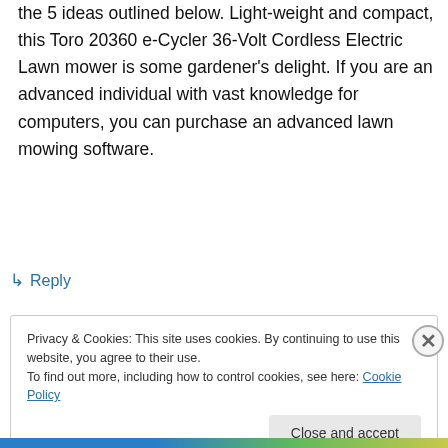the 5 ideas outlined below. Light-weight and compact, this Toro 20360 e-Cycler 36-Volt Cordless Electric Lawn mower is some gardener's delight. If you are an advanced individual with vast knowledge for computers, you can purchase an advanced lawn mowing software.
↵ Reply
Privacy & Cookies: This site uses cookies. By continuing to use this website, you agree to their use.
To find out more, including how to control cookies, see here: Cookie Policy
Close and accept